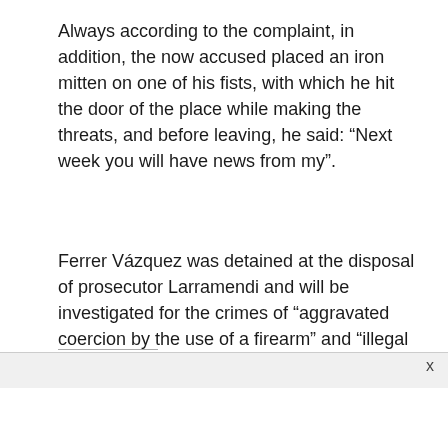Always according to the complaint, in addition, the now accused placed an iron mitten on one of his fists, with which he hit the door of the place while making the threats, and before leaving, he said: “Next week you will have news from my”.
Ferrer Vázquez was detained at the disposal of prosecutor Larramendi and will be investigated for the crimes of “aggravated coercion by the use of a firearm” and “illegal possession of a weapon.”